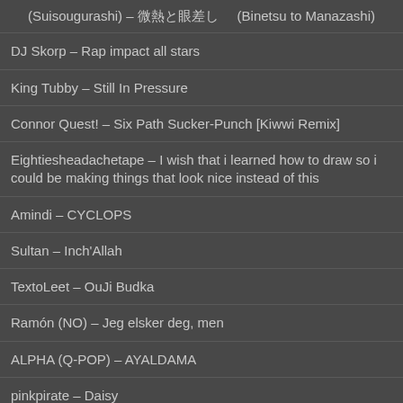(Suisougurashi) – 微熱と眼差し (Binetsu to Manazashi)
DJ Skorp – Rap impact all stars
King Tubby – Still In Pressure
Connor Quest! – Six Path Sucker-Punch [Kiwwi Remix]
Eightiesheadachetape – I wish that i learned how to draw so i could be making things that look nice instead of this
Amindi – CYCLOPS
Sultan – Inch'Allah
TextoLeet – OuJi Budka
Ramón (NO) – Jeg elsker deg, men
ALPHA (Q-POP) – AYALDAMA
pinkpirate – Daisy